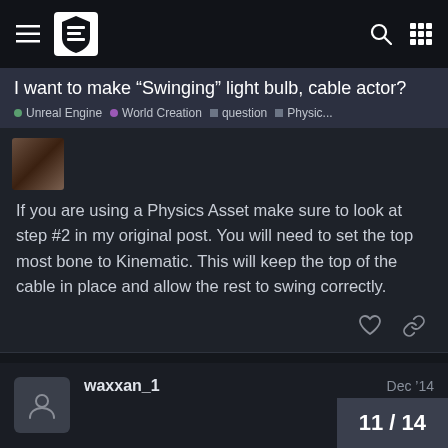I want to make “Swinging” light bulb, cable actor? • Unreal Engine • World Creation • question • Physic...
If you are using a Physics Asset make sure to look at step #2 in my original post. You will need to set the top most bone to Kinematic. This will keep the top of the cable in place and allow the rest to swing correctly.
waxxan_1  Dec ’14
I did make the top one kinematic, b
11 / 14